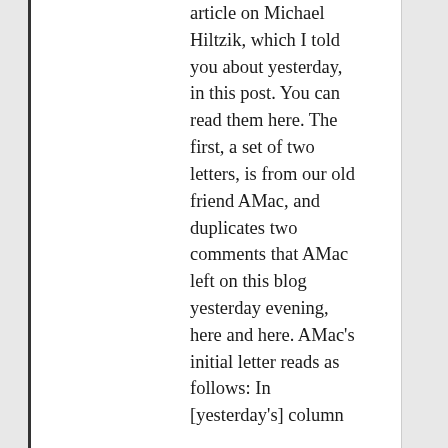article on Michael Hiltzik, which I told you about yesterday, in this post. You can read them here. The first, a set of two letters, is from our old friend AMac, and duplicates two comments that AMac left on this blog yesterday evening, here and here. AMac's initial letter reads as follows: In [yesterday's] column...